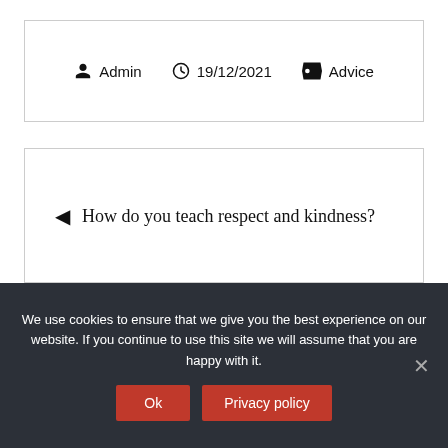Admin  19/12/2021  Advice
◄ How do you teach respect and kindness?
What happens when you get enough sleep? ►
We use cookies to ensure that we give you the best experience on our website. If you continue to use this site we will assume that you are happy with it.
Ok  Privacy policy